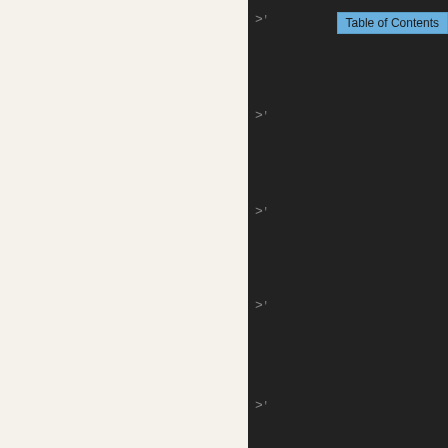Table of Contents
>'
<0  71  1
>'
<0  72  1
>'
<0  73  1
>'
<0  74  1
>'
<0  75  1
>'
<0  76  1
>'
<0  77  1
>'
<0  78  1
>'
<0  79  1
>'
<0  80  1
>'
<0  240